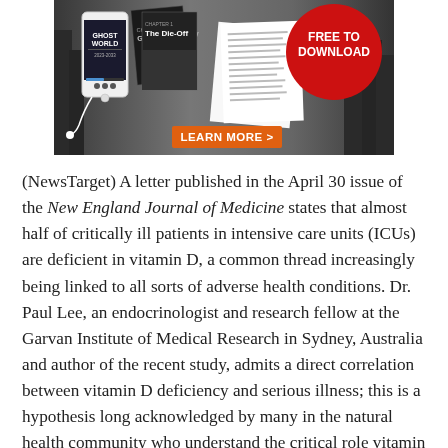[Figure (illustration): Advertisement banner for 'Ghost World' content. Dark post-apocalyptic background. Shows a smartphone with 'Ghost World 2023-2033' on screen, book covers including 'Gluts and Scarcity' and 'The Die-Off', scattered pages, a red circle badge reading 'FREE TO DOWNLOAD', and an orange 'LEARN MORE >' button.]
(NewsTarget) A letter published in the April 30 issue of the New England Journal of Medicine states that almost half of critically ill patients in intensive care units (ICUs) are deficient in vitamin D, a common thread increasingly being linked to all sorts of adverse health conditions. Dr. Paul Lee, an endocrinologist and research fellow at the Garvan Institute of Medical Research in Sydney, Australia and author of the recent study, admits a direct correlation between vitamin D deficiency and serious illness; this is a hypothesis long acknowledged by many in the natural health community who understand the critical role vitamin D plays